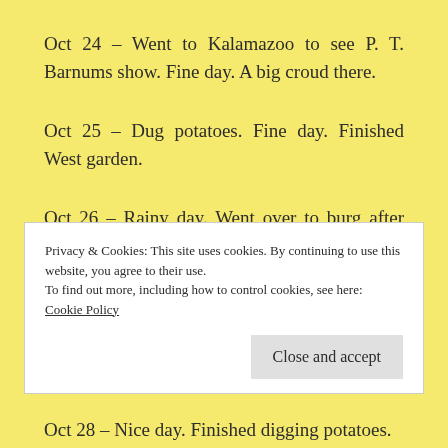Oct 24 – Went to Kalamazoo to see P. T. Barnums show. Fine day. A big croud there.
Oct 25 – Dug potatoes. Fine day. Finished West garden.
Oct 26 – Rainy day. Went over to burg after Nancy. Made some bars to go into Cornfield, put them up just at night. Got wet.
Privacy & Cookies: This site uses cookies. By continuing to use this website, you agree to their use.
To find out more, including how to control cookies, see here:
Cookie Policy
Oct 28 – Nice day. Finished digging potatoes.